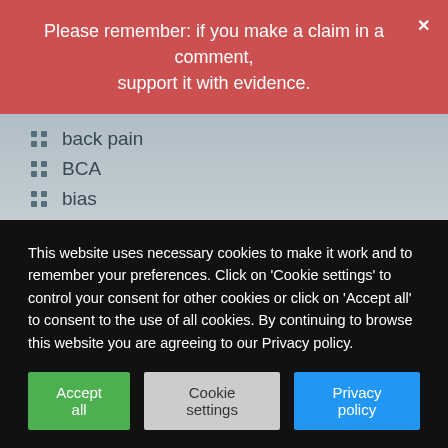Please remember: if you make a claim in a comment, support it with evidence.
back pain
BCA
bias
big pharma
bogus claims
bullshit
Cancer
caniosacral therapy
case report
This website uses necessary cookies to make it work and to remember your preferences. Click on 'Cookie settings' to control your consent for other cookies or click on 'Accept all' to consent to the use of all cookies. By continuing to browse this website you are agreeing to our Privacy policy.